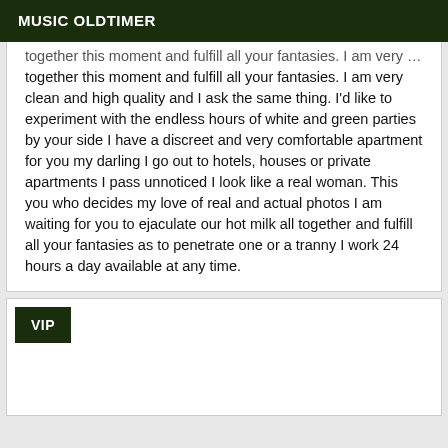MUSIC OLDTIMER
together this moment and fulfill all your fantasies. I am very clean and high quality and I ask the same thing. I'd like to experiment with the endless hours of white and green parties by your side I have a discreet and very comfortable apartment for you my darling I go out to hotels, houses or private apartments I pass unnoticed I look like a real woman. This you who decides my love of real and actual photos I am waiting for you to ejaculate our hot milk all together and fulfill all your fantasies as to penetrate one or a tranny I work 24 hours a day available at any time.
VIP